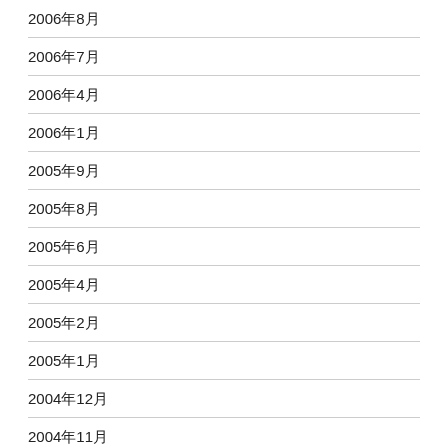2006年8月
2006年7月
2006年4月
2006年1月
2005年9月
2005年8月
2005年6月
2005年4月
2005年2月
2005年1月
2004年12月
2004年11月